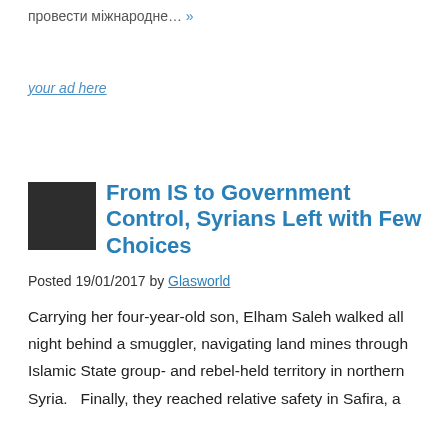провести міжнародне… »
your ad here
From IS to Government Control, Syrians Left with Few Choices
Posted 19/01/2017 by Glasworld
Carrying her four-year-old son, Elham Saleh walked all night behind a smuggler, navigating land mines through Islamic State group- and rebel-held territory in northern Syria.  Finally, they reached relative safety in Safira, a